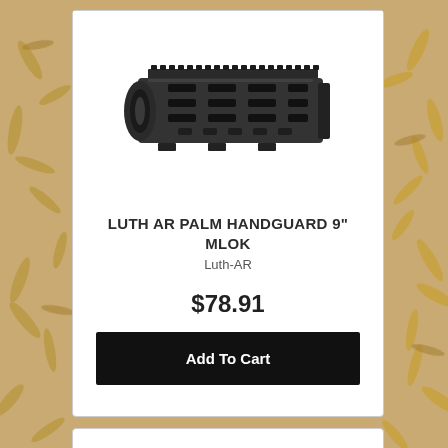[Figure (photo): Background image of scattered brass bullet casings/ammunition]
[Figure (photo): Product photo of a black Luth AR Palm Handguard 9 inch MLOK rail system, cylindrical shape with M-LOK slots and top Picatinny rail]
LUTH AR PALM HANDGUARD 9" MLOK
Luth-AR
$78.91
Add To Cart